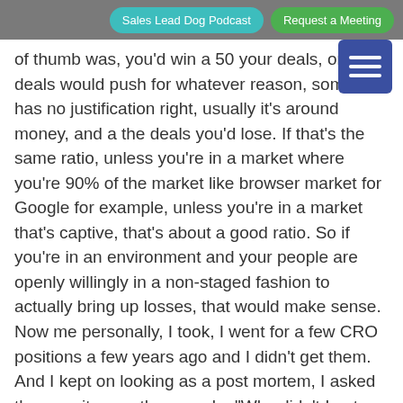Sales Lead Dog Podcast | Request a Meeting
of thumb was, you'd win a 50 your deals, or 50 deals would push for whatever reason, someone has no justification right, usually it's around money, and a the deals you'd lose. If that's the same ratio, unless you're in a market where you're 90% of the market like browser market for Google for example, unless you're in a market that's captive, that's about a good ratio. So if you're in an environment and your people are openly willingly in a non-staged fashion to actually bring up losses, that would make sense. Now me personally, I took, I went for a few CRO positions a few years ago and I didn't get them. And I kept on looking as a post mortem, I asked the recruiter or other people, “Why didn’t I get them?” Well, there wasn't exactly one specific reason, usually it was skill set and fit. But I looked at some of their resumes, and the people that were beating me either got an MBA at Harvard or an MBA at Kellogg or an MBA at Wharton. So I wasn't going to beat them, so I did take the occasion to go back and get